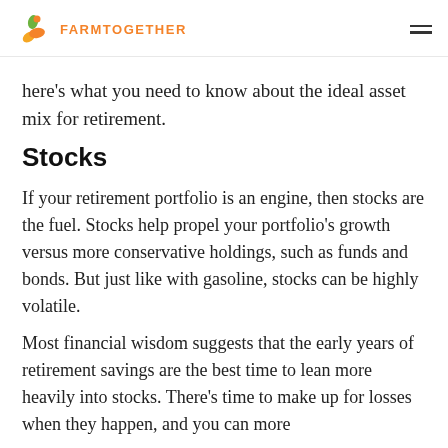FARMTOGETHER
here's what you need to know about the ideal asset mix for retirement.
Stocks
If your retirement portfolio is an engine, then stocks are the fuel. Stocks help propel your portfolio's growth versus more conservative holdings, such as funds and bonds. But just like with gasoline, stocks can be highly volatile.
Most financial wisdom suggests that the early years of retirement savings are the best time to lean more heavily into stocks. There's time to make up for losses when they happen, and you can more